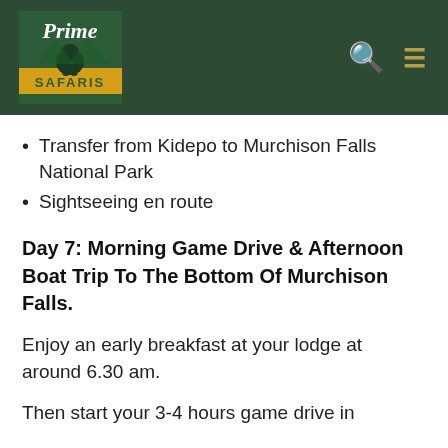[Figure (logo): Prime Safaris logo: green square with yellow banner reading SAFARIS, gorilla silhouette, text Prime above]
Transfer from Kidepo to Murchison Falls National Park
Sightseeing en route
Day 7: Morning Game Drive & Afternoon Boat Trip To The Bottom Of Murchison Falls.
Enjoy an early breakfast at your lodge at around 6.30 am.
Then start your 3-4 hours game drive in